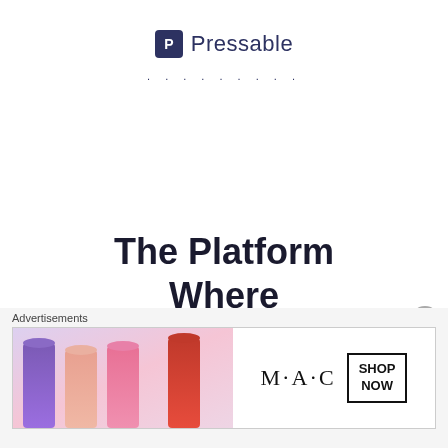[Figure (logo): Pressable logo with dark blue 'P' icon in rounded square and 'Pressable' wordmark]
. . . . . . . . .
The Platform Where WordPress Works Best
Advertisements
[Figure (photo): MAC Cosmetics advertisement banner with lipsticks and SHOP NOW button]